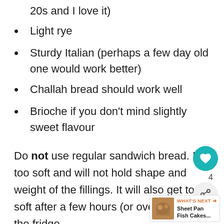20s and I love it)
Light rye
Sturdy Italian (perhaps a few day old one would work better)
Challah bread should work well
Brioche if you don't mind slightly sweet flavour
Do not use regular sandwich bread. It is too soft and will not hold shape and weight of the fillings. It will also get too soft after a few hours (or overnight) in the fridge.